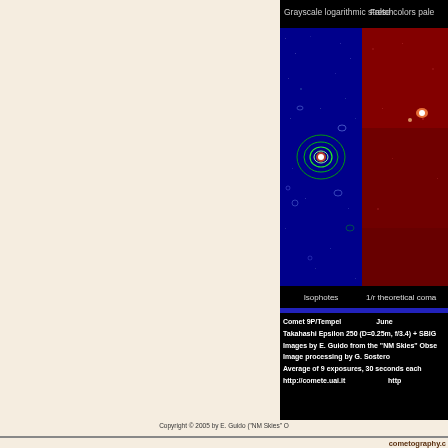Grayscale logarithmic stretch
False colors pale
[Figure (photo): Comet 9P/Tempel image with isophotes overlay on dark blue background showing green contour rings around the bright nucleus]
[Figure (photo): Comet 9P/Tempel false color image with red palette showing the comet nucleus as bright spot]
Isophotes
1/r theoretical coma
Comet 9P/Tempel   June
Takahashi Epsilon 250 (D=0.25m, f/3.4) + SBIG
Images by E. Guido from the "NM Skies" Obse...
Image processing by G. Sostero
Average of 9 exposures, 30 seconds each
http://comete.uai.it   http://
Copyright © 2005 by E. Guido ("NM Skies" ...
cometography.c